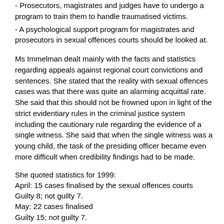- Prosecutors, magistrates and judges have to undergo a program to train them to handle traumatised victims.
- A psychological support program for magistrates and prosecutors in sexual offences courts should be looked at.
Ms Immelman dealt mainly with the facts and statistics regarding appeals against regional court convictions and sentences. She stated that the reality with sexual offences cases was that there was quite an alarming acquittal rate. She said that this should not be frowned upon in light of the strict evidentiary rules in the criminal justice system including the cautionary rule regarding the evidence of a single witness. She said that when the single witness was a young child, the task of the presiding officer became even more difficult when credibility findings had to be made.
She quoted statistics for 1999:
April: 15 cases finalised by the sexual offences courts
Guilty 8; not guilty 7.
May: 22 cases finalised
Guilty 15; not guilty 7.
June: 21 cases finalised.
Guilty 12; not guilty 9 and so on.